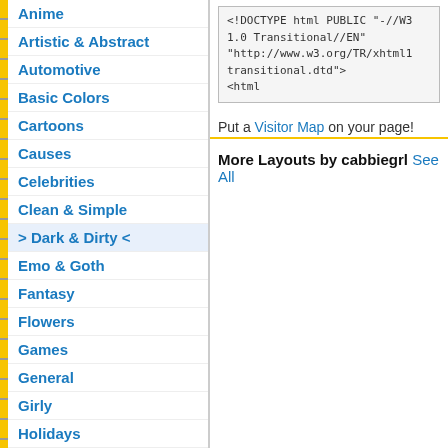Anime
Artistic & Abstract
Automotive
Basic Colors
Cartoons
Causes
Celebrities
Clean & Simple
> Dark & Dirty <
Emo & Goth
Fantasy
Flowers
Games
General
Girly
Holidays
Love
Movies & TV
Music
<!DOCTYPE html PUBLIC "-//W3C//DTD XHTML 1.0 Transitional//EN" "http://www.w3.org/TR/xhtml1/DTD/xhtml1-transitional.dtd">
<html
Put a Visitor Map on your page!
More Layouts by cabbiegrl See All